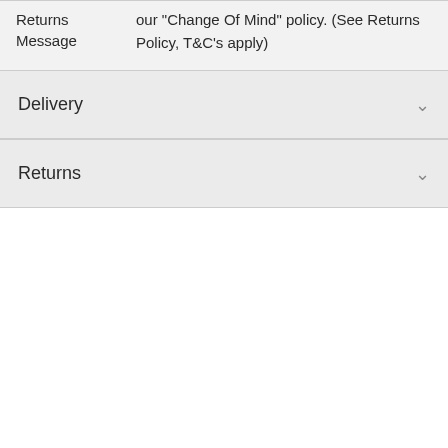| Returns Message |  |
| --- | --- |
| Returns Message | our "Change Of Mind" policy. (See Returns Policy, T&C's apply) |
Delivery
Returns